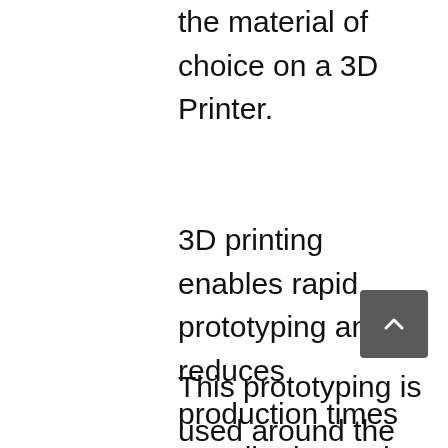the material of choice on a 3D Printer.
3D printing enables rapid prototyping and reduces production times contributing to the popularity of a design technique known as iterative design.
This prototyping is used around the world, and even in our solar system as Nasa leverages 3D